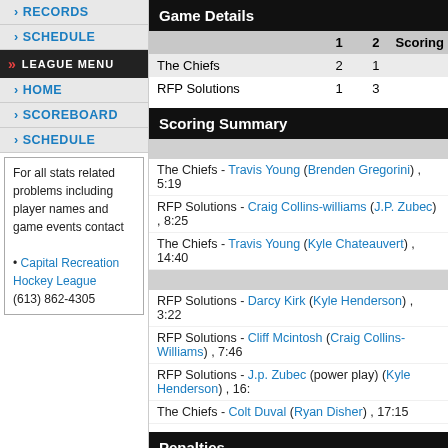RECORDS
SCHEDULE
LEAGUE MENU
HOME
SCOREBOARD
SCHEDULE
For all stats related problems including player names and game events contact
• Capital Recreation Hockey League
(613) 862-4305
Game Details
|  | 1 | 2 |
| --- | --- | --- |
| The Chiefs | 2 | 1 |
| RFP Solutions | 1 | 3 |
Scoring Summary
The Chiefs - Travis Young (Brenden Gregorini) , 5:19
RFP Solutions - Craig Collins-williams (J.P. Zubec) , 8:25
The Chiefs - Travis Young (Kyle Chateauvert) , 14:40
RFP Solutions - Darcy Kirk (Kyle Henderson) , 3:22
RFP Solutions - Cliff Mcintosh (Craig Collins-Williams) , 7:46
RFP Solutions - J.p. Zubec (power play) (Kyle Henderson) , 16:...
The Chiefs - Colt Duval (Ryan Disher) , 17:15
Penalties
(no penalties)
RFP Solutions - J.p. Zubec (Slashing), 3 min , 12:57
The Chiefs - Brenden Gregorini (Cross Checking), 3 min , 14:...